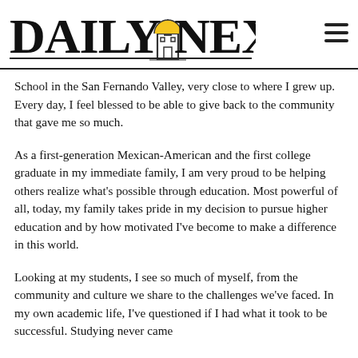DAILY NEXUS
School in the San Fernando Valley, very close to where I grew up. Every day, I feel blessed to be able to give back to the community that gave me so much.
As a first-generation Mexican-American and the first college graduate in my immediate family, I am very proud to be helping others realize what's possible through education. Most powerful of all, today, my family takes pride in my decision to pursue higher education and by how motivated I've become to make a difference in this world.
Looking at my students, I see so much of myself, from the community and culture we share to the challenges we've faced. In my own academic life, I've questioned if I had what it took to be successful. Studying never came